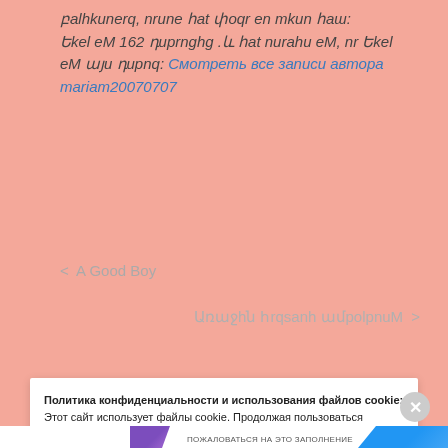բալիկներo, նրանք հատ փոքր են մکان հաш: Եկել եM 162 դarpnghg .և հատ ուrաhu եM, nr Եكel եM այu դαpnq: Смотреть все записи автора mariam20070707
< A Good Boy
Առաջին հրցանի ամpolpnuM >
Политика конфиденциальности и использования файлов cookie: Этот сайт использует файлы cookie. Продолжая пользоваться сайтом, вы соглашаетесь с их использованием. Дополнительную информацию, в том числе об управлении файлами cookie, можно найти здесь: Политика использования файлов cookie
Принять и закрыть